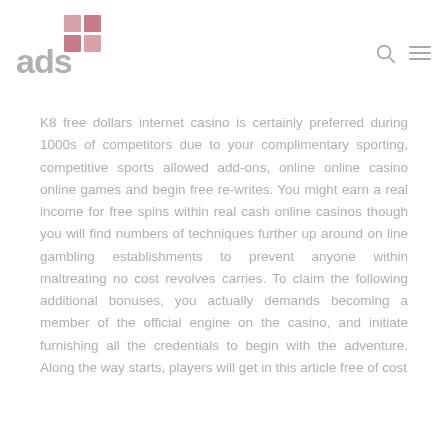[Figure (logo): ADS logo with pink/mauve grid squares and lowercase 'ads' text in gray]
K8 free dollars internet casino is certainly preferred during 1000s of competitors due to your complimentary sporting, competitive sports allowed add-ons, online online casino online games and begin free re-writes. You might earn a real income for free spins within real cash online casinos though you will find numbers of techniques further up around on line gambling establishments to prevent anyone within maltreating no cost revolves carries. To claim the following additional bonuses, you actually demands becoming a member of the official engine on the casino, and initiate furnishing all the credentials to begin with the adventure. Along the way starts, players will get in this article free of cost